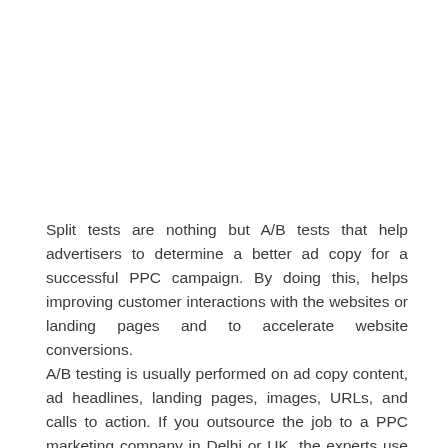Split tests are nothing but A/B tests that help advertisers to determine a better ad copy for a successful PPC campaign. By doing this, helps improving customer interactions with the websites or landing pages and to accelerate website conversions.
A/B testing is usually performed on ad copy content, ad headlines, landing pages, images, URLs, and calls to action. If you outsource the job to a PPC marketing company in Delhi or UK, the experts use the same